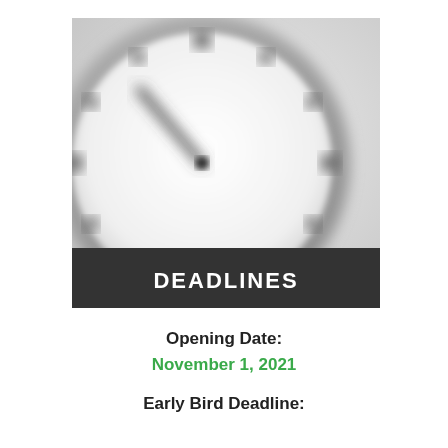[Figure (photo): A blurred analog wall clock with a white face and dark hour markers, photographed from the front against a light gray background. A dark banner at the bottom of the image reads DEADLINES in bold white letters.]
Opening Date:
November 1, 2021
Early Bird Deadline: